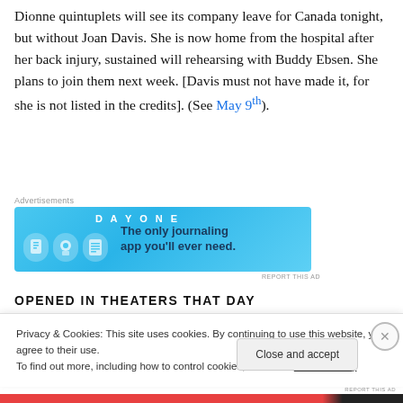Dionne quintuplets will see its company leave for Canada tonight, but without Joan Davis. She is now home from the hospital after her back injury, sustained will rehearsing with Buddy Ebsen. She plans to join them next week. [Davis must not have made it, for she is not listed in the credits]. (See May 9th).
[Figure (other): DAY ONE journaling app advertisement banner with blue background, icons, and tagline 'The only journaling app you'll ever need.']
OPENED IN THEATERS THAT DAY
Privacy & Cookies: This site uses cookies. By continuing to use this website, you agree to their use.
To find out more, including how to control cookies, see here: Cookie Policy